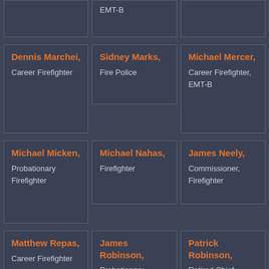[Figure (organizational-chart): Grid of personnel cards showing fire department members with names in orange and roles in light gray on dark blue-gray background. Partial top row shows EMT-B role. Second row: Dennis Marchei (Career Firefighter), Sidney Marks (Fire Police), Michael Mercer (Career Firefighter, EMT-B). Third row: Michael Micken (Probationary Firefighter), Michael Nahas (Firefighter), James Neely (Commissioner, Firefighter). Fourth row: Matthew Repas (Career Firefighter), James Robinson (Probationary Firefighter), Patrick Robinson (Retired Chief).]